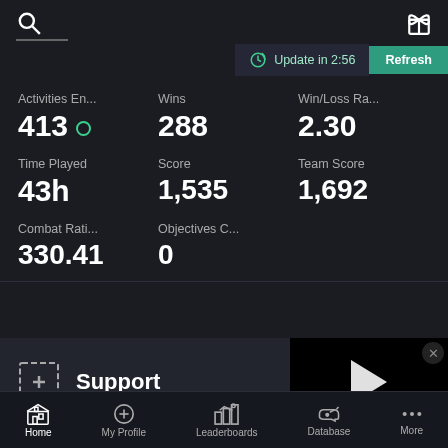[Figure (screenshot): Game stats dashboard screenshot showing search icon, gift icon, update timer, and navigation bar]
Update in 2:56
Refresh
Activities En... 413
Wins 288
Win/Loss Ra... 2.30
Time Played 43h
Score 1,535
Team Score 1,692
Combat Rati... 330.41
Objectives C... 0
Support
Home
My Profile
Leaderboards
Database
More